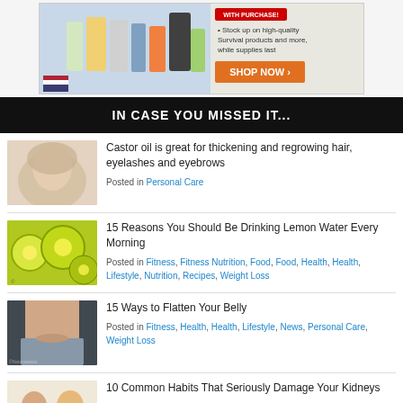[Figure (photo): Advertisement banner showing survival products with a SHOP NOW button]
IN CASE YOU MISSED IT...
[Figure (photo): Woman washing her hair, eyes closed]
Castor oil is great for thickening and regrowing hair, eyelashes and eyebrows
Posted in Personal Care
[Figure (photo): Sliced lemons and limes close-up]
15 Reasons You Should Be Drinking Lemon Water Every Morning
Posted in Fitness, Fitness Nutrition, Food, Food, Health, Health, Lifestyle, Nutrition, Recipes, Weight Loss
[Figure (photo): Person showing flat belly in gray sweatpants]
15 Ways to Flatten Your Belly
Posted in Fitness, Health, Health, Lifestyle, News, Personal Care, Weight Loss
[Figure (photo): Two people sitting together]
10 Common Habits That Seriously Damage Your Kidneys
Posted in Food, Food, Health, Health, Lifestyle, News, Nutrition